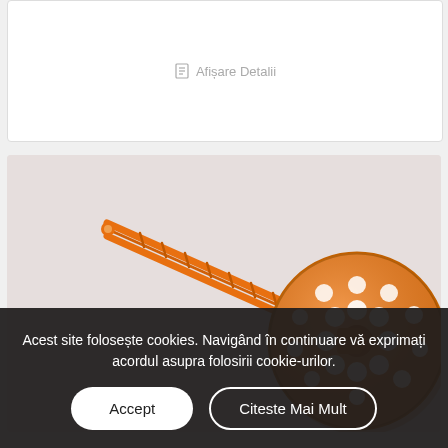Afișare Detalii
[Figure (photo): Orange plastic wall anchor/fastener with a large perforated disc head and long ribbed pin, photographed on a light grey/pink background.]
Acest site folosește cookies. Navigând în continuare vă exprimați acordul asupra folosirii cookie-urilor.
Accept
Citeste Mai Mult